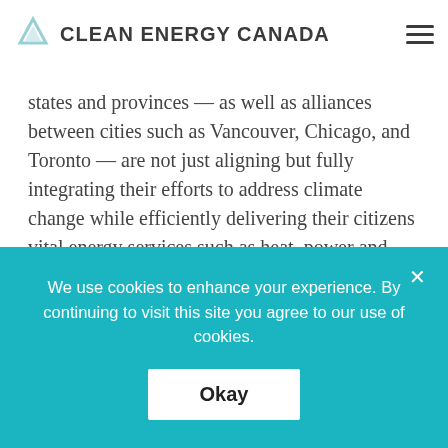CLEAN ENERGY CANADA
states and provinces — as well as alliances between cities such as Vancouver, Chicago, and Toronto — are not just aligning but fully integrating their efforts to address climate change while efficiently delivering their citizens vital energy services such as heat, power and mobility.
The Pacific Coast Action Plan commits the leaders to collective action on a diverse range of carbon programs and policies including low-carbon fuel standards, and sets new targets for electric vehicles, net-zero buildings and more.
These sub-national agreements aren't small change.
We use cookies to enhance your experience. By continuing to visit this site you agree to our use of cookies.